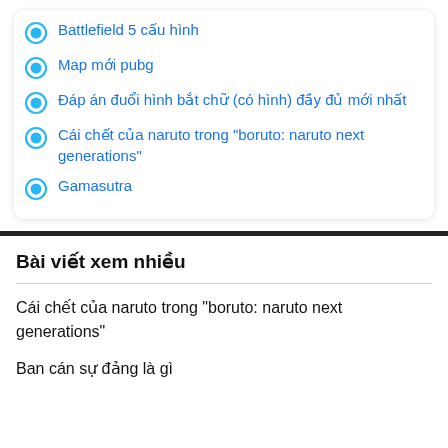Battlefield 5 cấu hình
Map mới pubg
Đáp án đuổi hình bắt chữ (có hình) đầy đủ mới nhất
Cái chết của naruto trong "boruto: naruto next generations"
Gamasutra
Bài viết xem nhiều
Cái chết của naruto trong "boruto: naruto next generations"
Ban cán sự đảng là gì